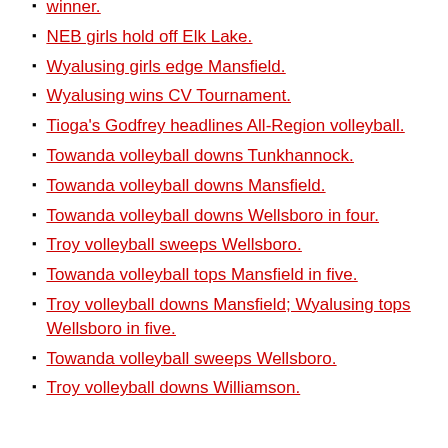winner.
NEB girls hold off Elk Lake.
Wyalusing girls edge Mansfield.
Wyalusing wins CV Tournament.
Tioga's Godfrey headlines All-Region volleyball.
Towanda volleyball downs Tunkhannock.
Towanda volleyball downs Mansfield.
Towanda volleyball downs Wellsboro in four.
Troy volleyball sweeps Wellsboro.
Towanda volleyball tops Mansfield in five.
Troy volleyball downs Mansfield; Wyalusing tops Wellsboro in five.
Towanda volleyball sweeps Wellsboro.
Troy volleyball downs Williamson.